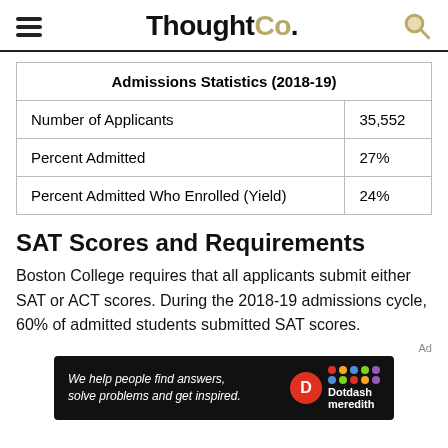ThoughtCo.
| Admissions Statistics (2018-19) |  |
| --- | --- |
| Number of Applicants | 35,552 |
| Percent Admitted | 27% |
| Percent Admitted Who Enrolled (Yield) | 24% |
SAT Scores and Requirements
Boston College requires that all applicants submit either SAT or ACT scores. During the 2018-19 admissions cycle, 60% of admitted students submitted SAT scores.
[Figure (other): Dotdash Meredith advertisement banner: 'We help people find answers, solve problems and get inspired.']